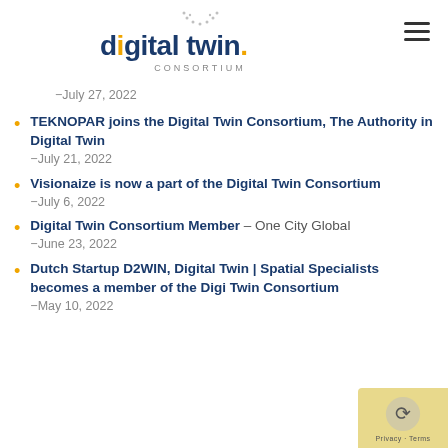[Figure (logo): Digital Twin Consortium logo with dotted arc above text, blue 'digital twin' bold text with orange dot on i, gray 'CONSORTIUM' text below]
-July 27, 2022
TEKNOPAR joins the Digital Twin Consortium, The Authority in Digital Twin -July 21, 2022
Visionaize is now a part of the Digital Twin Consortium -July 6, 2022
Digital Twin Consortium Member – One City Global -June 23, 2022
Dutch Startup D2WIN, Digital Twin | Spatial Specialists becomes a member of the Digital Twin Consortium -May 10, 2022